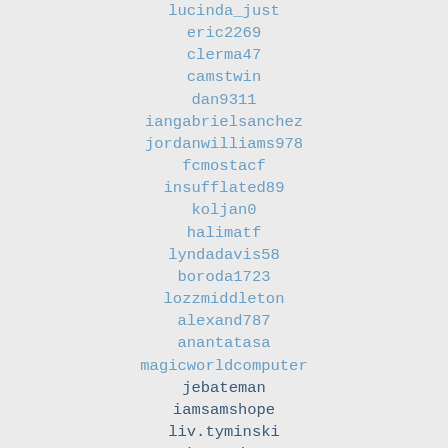lucinda_just
eric2269
clerma47
camstwin
dan9311
iangabrielsanchez
jordanwilliams978
fcmostacf
insufflated89
koljan0
halimatf
lyndadavis58
boroda1723
lozzmiddleton
alexand787
anantatasa
magicworldcomputer
jebateman
iamsamshope
liv.tyminski
donnyrise
coolyang06
bilalxiao
kfoil